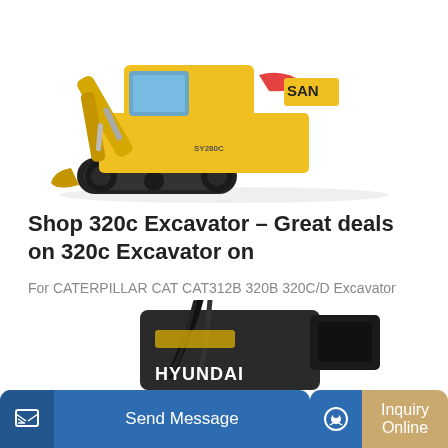[Figure (photo): Yellow SANY SY280C crawler excavator on white background, side view]
Shop 320c Excavator – Great deals on 320c Excavator on
For CATERPILLAR CAT CAT312B 320B 320C/D Excavator Automatic refueling motor line Throttle line Flameout line Excavator Accessory US $113.61 / piece Free Shipping 0...
[Figure (photo): Dark colored Hyundai excavator attachment/accessory, partial view at bottom of page]
Send Message | Inquiry Online